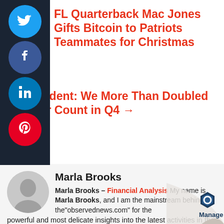FL Quarterback Mac Jones Gifts Bitcoin to Patriots Teammates for Christmas
US President: We More Than Doubled Our User Count in Q4 →
Marla Brooks
Marla Brooks – Financial Analysis My name is Marla Brooks, and I am the mainstream behind the"observednews.com" for the powerful and most delicate insights into the latest activities in the financial analysis category. I started my journey as an independent financial consultant. I have approximately nine years of experience in this field, a free soul so; my passion for exploring the world has taken